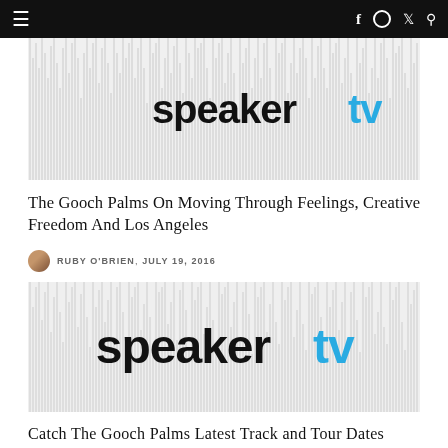SpeakerTV navigation bar with hamburger menu and social icons (f, Instagram, Twitter, Search)
[Figure (logo): SpeakerTV logo on abstract waveform/noise background (grayscale vertical lines). Logo text: 'speaker' in black bold, 'tv' in cyan/blue bold.]
The Gooch Palms On Moving Through Feelings, Creative Freedom And Los Angeles
RUBY O'BRIEN, JULY 19, 2016
[Figure (logo): SpeakerTV logo on abstract waveform/noise background (grayscale vertical lines). Logo text: 'speaker' in black bold, 'tv' in cyan/blue bold.]
Catch The Gooch Palms Latest Track and Tour Dates